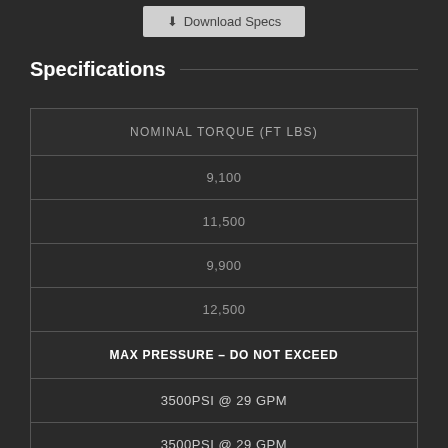Download Specs
Specifications
| NOMINAL TORQUE (FT LBS) |
| --- |
| 9,100 |
| 11,500 |
| 9,900 |
| 12,500 |
| MAX PRESSURE – DO NOT EXCEED |
| 3500PSI @ 29 GPM |
| 3500PSI @ 29 GPM |